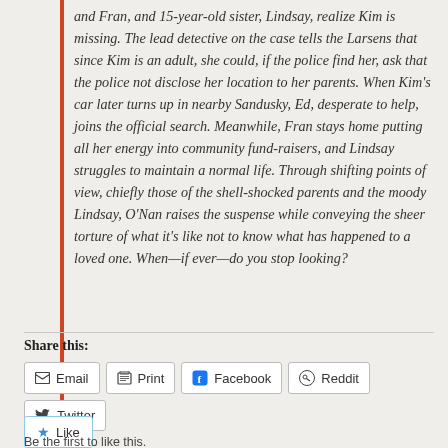and Fran, and 15-year-old sister, Lindsay, realize Kim is missing. The lead detective on the case tells the Larsens that since Kim is an adult, she could, if the police find her, ask that the police not disclose her location to her parents. When Kim's car later turns up in nearby Sandusky, Ed, desperate to help, joins the official search. Meanwhile, Fran stays home putting all her energy into community fund-raisers, and Lindsay struggles to maintain a normal life. Through shifting points of view, chiefly those of the shell-shocked parents and the moody Lindsay, O'Nan raises the suspense while conveying the sheer torture of what it's like not to know what has happened to a loved one. When—if ever—do you stop looking?
Share this:
Email
Print
Facebook
Reddit
Twitter
Like
Be the first to like this.